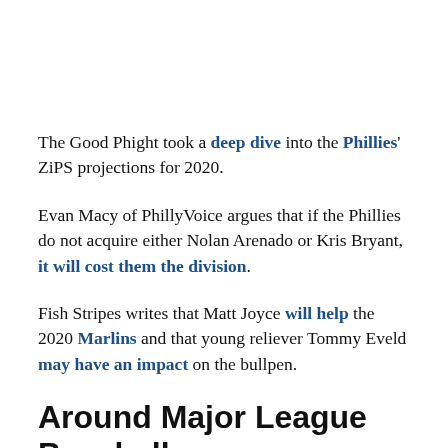The Good Phight took a deep dive into the Phillies' ZiPS projections for 2020.
Evan Macy of PhillyVoice argues that if the Phillies do not acquire either Nolan Arenado or Kris Bryant, it will cost them the division.
Fish Stripes writes that Matt Joyce will help the 2020 Marlins and that young reliever Tommy Eveld may have an impact on the bullpen.
Around Major League Baseball
Two former White Sox employees and a broker have been charged in a ticketing scheme that resulted in thousands of fraudulent tickets sold that cost the White